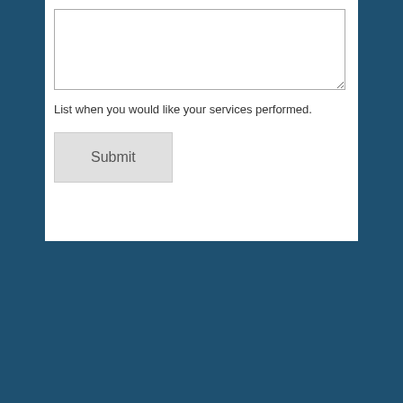List when you would like your services performed.
Submit
[Figure (logo): Snyder Pools logo with swimmer icon on teal background]
50 Narrows Road